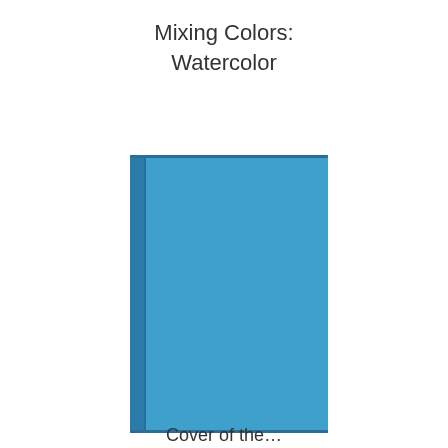Mixing Colors: Watercolor
[Figure (illustration): Illustration of a blue watercolor book or notebook shown from the front cover, with a slightly darker blue spine visible on the left side. The book is a vertical rectangle with a light-medium blue cover and a darker blue left edge representing the spine.]
Cover of the…